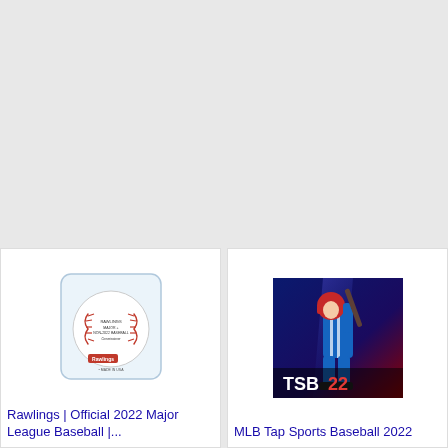[Figure (photo): Rawlings official baseball in a clear acrylic display cube]
Rawlings | Official 2022 Major League Baseball |...
[Figure (photo): MLB Tap Sports Baseball 2022 video game cover featuring a baseball player batting]
MLB Tap Sports Baseball 2022